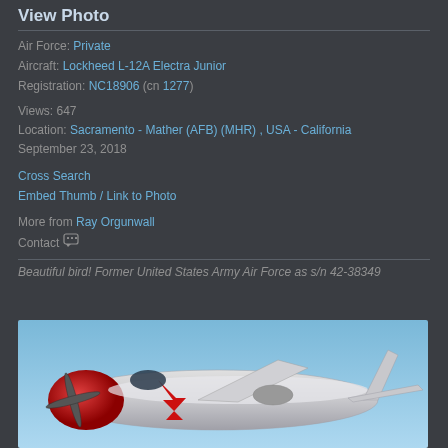View Photo
Air Force: Private
Aircraft: Lockheed L-12A Electra Junior
Registration: NC18906 (cn 1277)
Views: 647
Location: Sacramento - Mather (AFB) (MHR) , USA - California
September 23, 2018
Cross Search
Embed Thumb / Link to Photo
More from Ray Orgunwall
Contact
Beautiful bird! Former United States Army Air Force as s/n 42-38349
[Figure (photo): A silver and red Lockheed L-12A Electra Junior aircraft photographed against a blue sky, showing the distinctive red nose and lightning bolt markings on the fuselage.]